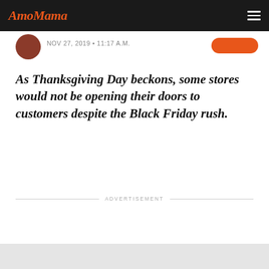AmoMama
NOV 27, 2019 • 11:17 A.M.
As Thanksgiving Day beckons, some stores would not be opening their doors to customers despite the Black Friday rush.
ADVERTISEMENT